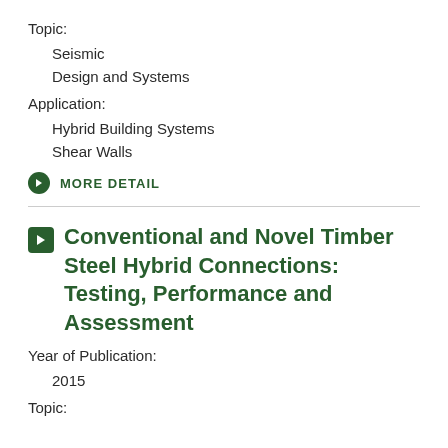Topic:
Seismic
Design and Systems
Application:
Hybrid Building Systems
Shear Walls
MORE DETAIL
Conventional and Novel Timber Steel Hybrid Connections: Testing, Performance and Assessment
Year of Publication:
2015
Topic: